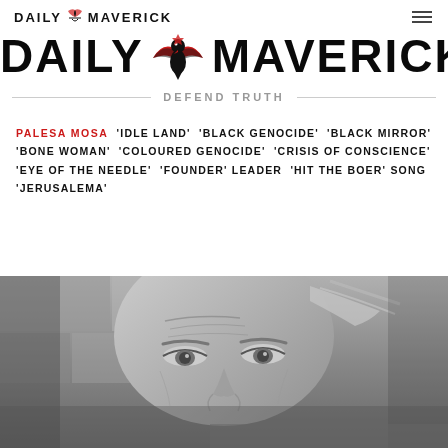DAILY MAVERICK
[Figure (logo): Daily Maverick large logo with eagle/bird graphic between DAILY and MAVERICK text]
DEFEND TRUTH
PALESA MOSA  'IDLE LAND'  'BLACK GENOCIDE'  'BLACK MIRROR'  'BONE WOMAN'  'COLOURED GENOCIDE'  'CRISIS OF CONSCIENCE'  'EYE OF THE NEEDLE'  'FOUNDER' LEADER  'HIT THE BOER' SONG  'JERUSALEMA'
[Figure (photo): Black and white close-up photograph of an elderly person's face, looking slightly upward]